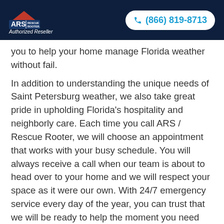[Figure (logo): ARS Rescue Rooter logo with Authorized Reseller text in dark navy header, alongside phone button showing (866) 819-8713]
you to help your home manage Florida weather without fail.
In addition to understanding the unique needs of Saint Petersburg weather, we also take great pride in upholding Florida's hospitality and neighborly care. Each time you call ARS / Rescue Rooter, we will choose an appointment that works with your busy schedule. You will always receive a call when our team is about to head over to your home and we will respect your space as it were our own. With 24/7 emergency service every day of the year, you can trust that we will be ready to help the moment you need us.
Heating, Cooling, and Plumbing